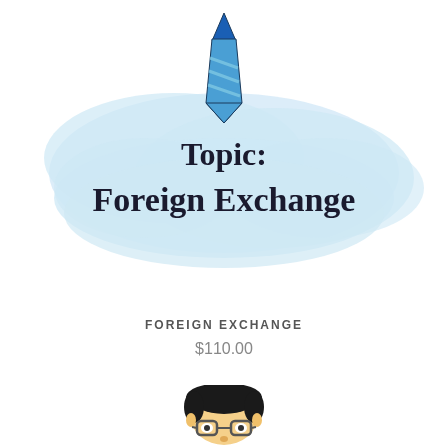[Figure (illustration): Illustration of a blue striped necktie above a light blue cloud/brush-stroke shape with bold text 'Topic: Foreign Exchange' written inside it]
FOREIGN EXCHANGE
$110.00
[Figure (illustration): Cartoon illustration of a man's face with dark hair and glasses, partially cropped at the bottom of the page]